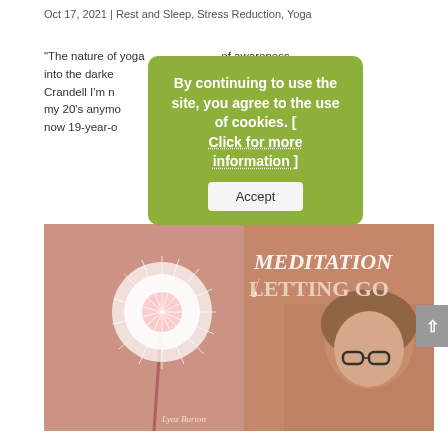Oct 17, 2021 | Rest and Sleep, Stress Reduction, Yoga
“The nature of yoga is to shine the light of awareness into the darkest corners of the being. Jason Crandell I’m not in my 20’s anymore. I find myself now. In I’d just had my now 19-year-old son... and so...
[Figure (other): Cookie consent overlay on green background reading: By continuing to use the site, you agree to the use of cookies. [ Click for more information ] with an Accept button.]
[Figure (photo): Book or album cover image showing a dandelion blowing in the wind on the left, a woman with glasses and dark-framed glasses on the right, with text overlay reading MEDITATION LETTING GO and a watermark Lynz Burton.]